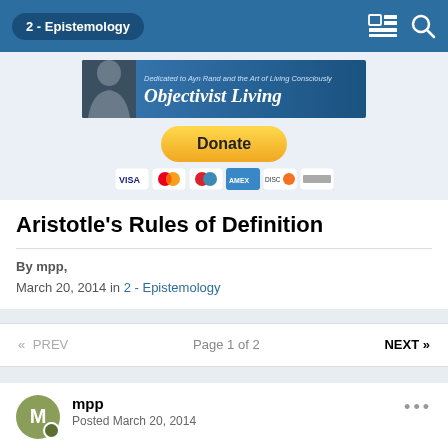2 - Epistemology
[Figure (screenshot): Objectivist Living banner image — silhouette of Ayn Rand with text 'Dedicated to Ayn Rand and the Art of Living Consciously' and 'Objectivist Living']
[Figure (screenshot): PayPal Donate button and payment method icons (Visa, Mastercard, Discover, and other cards)]
Aristotle's Rules of Definition
By mpp,
March 20, 2014 in 2 - Epistemology
« PREV   Page 1 of 2   NEXT »
mpp
Posted March 20, 2014